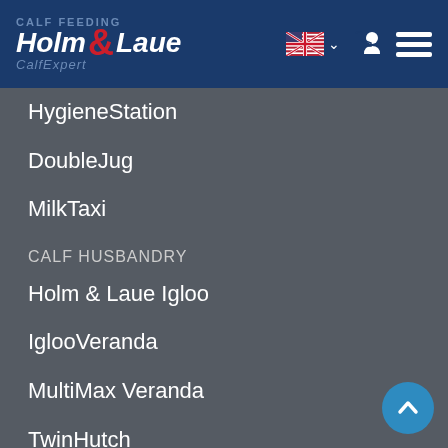CALF FEEDING Holm & Laue CalfExpert
HygieneStation
DoubleJug
MilkTaxi
CALF HUSBANDRY
Holm & Laue Igloo
IglooVeranda
MultiMax Veranda
TwinHutch
Calf-Tel and FlexyFence
CalfGarden
PenSystem calf pens